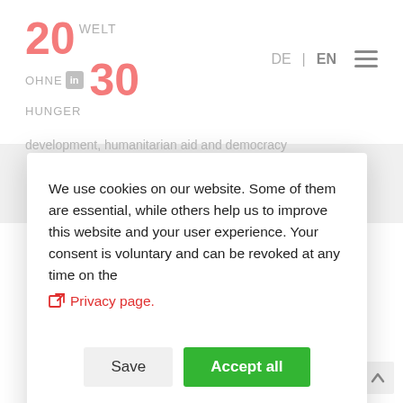[Figure (logo): 20 WELT OHNE HUNGER 30 logo with LinkedIn icon, stylized in pink/red and grey]
DE | EN ≡
development, humanitarian aid and democracy
We use cookies on our website. Some of them are essential, while others help us to improve this website and your user experience. Your consent is voluntary and can be revoked at any time on the Privacy page.
Save   Accept all
Standard
Cookies that
Analytics
We use Matomo
Third party content
[Figure (illustration): Illustrated building/temple with columns in blue-grey tones]